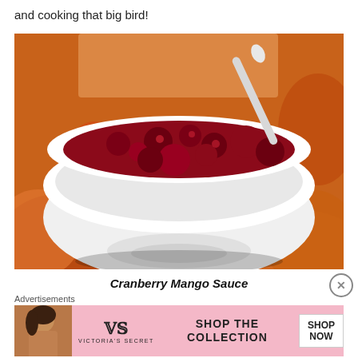and cooking that big bird!
[Figure (photo): A white bowl filled with dark red cranberry mango sauce, with a spoon handle visible, placed on a colorful floral tablecloth with autumn motifs.]
Cranberry Mango Sauce
Advertisements
[Figure (other): Victoria's Secret advertisement banner with pink background, model photo, VS logo, text 'SHOP THE COLLECTION', and a 'SHOP NOW' button.]